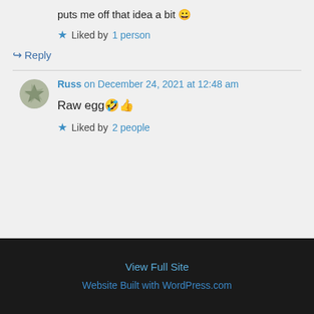puts me off that idea a bit 😀
★ Liked by 1 person
↪ Reply
Russ on December 24, 2021 at 12:48 am
Raw egg🤣👍
★ Liked by 2 people
View Full Site
Website Built with WordPress.com